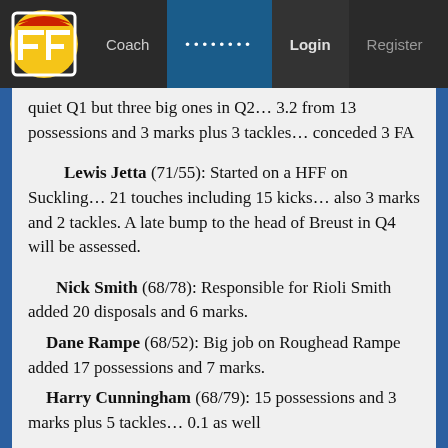FF Coach • • • • • • • • Login Register
quiet Q1 but three big ones in Q2… 3.2 from 13 possessions and 3 marks plus 3 tackles… conceded 3 FA
Lewis Jetta (71/55): Started on a HFF on Suckling… 21 touches including 15 kicks… also 3 marks and 2 tackles. A late bump to the head of Breust in Q4 will be assessed.
Nick Smith (68/78): Responsible for Rioli Smith added 20 disposals and 6 marks.
Dane Rampe (68/52): Big job on Roughead Rampe added 17 possessions and 7 marks.
Harry Cunningham (68/79): 15 possessions and 3 marks plus 5 tackles… 0.1 as well
Heath Grundy (67/52): Standing McEvoy